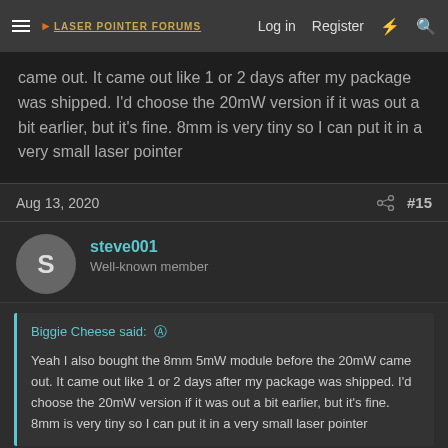Laser Pointer Forums — Log in | Register
came out. It came out like 1 or 2 days after my package was shipped. I'd choose the 20mW version if it was out a bit earlier, but it's fine. 8mm is very tiny so I can put it in a very small laser pointer
Aug 13, 2020  #15
steve001
Well-known member
Biggie Cheese said:
Yeah I also bought the 8mm 5mW module before the 20mW came out. It came out like 1 or 2 days after my package was shipped. I'd choose the 20mW version if it was out a bit earlier, but it's fine. 8mm is very tiny so I can put it in a very small laser pointer
The name of the color is chartreuse. Chartreuse-yellow to be